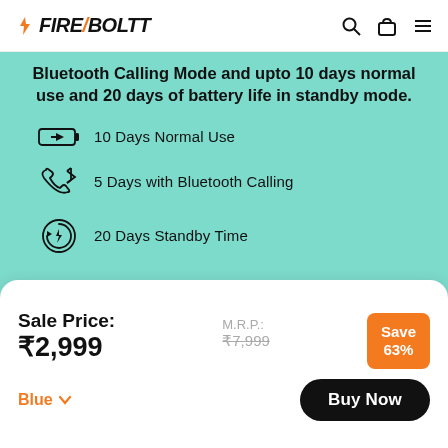Fire-Boltt
Bluetooth Calling Mode and upto 10 days normal use and 20 days of battery life in standby mode.
10 Days Normal Use
5 Days with Bluetooth Calling
20 Days Standby Time
Sale Price: ₹2,999
M.R.P.: ₹7,999
Save 63%
Blue
Buy Now